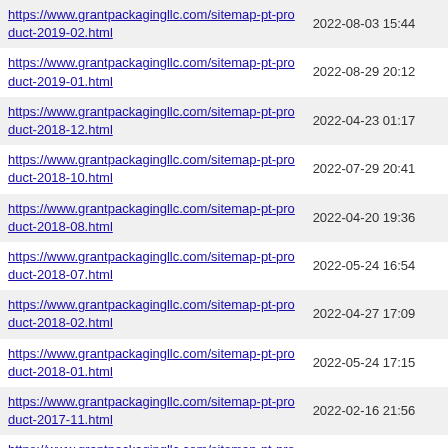| URL | Last Modified |
| --- | --- |
| https://www.grantpackagingllc.com/sitemap-pt-product-2019-02.html | 2022-08-03 15:44 |
| https://www.grantpackagingllc.com/sitemap-pt-product-2019-01.html | 2022-08-29 20:12 |
| https://www.grantpackagingllc.com/sitemap-pt-product-2018-12.html | 2022-04-23 01:17 |
| https://www.grantpackagingllc.com/sitemap-pt-product-2018-10.html | 2022-07-29 20:41 |
| https://www.grantpackagingllc.com/sitemap-pt-product-2018-08.html | 2022-04-20 19:36 |
| https://www.grantpackagingllc.com/sitemap-pt-product-2018-07.html | 2022-05-24 16:54 |
| https://www.grantpackagingllc.com/sitemap-pt-product-2018-02.html | 2022-04-27 17:09 |
| https://www.grantpackagingllc.com/sitemap-pt-product-2018-01.html | 2022-05-24 17:15 |
| https://www.grantpackagingllc.com/sitemap-pt-product-2017-11.html | 2022-02-16 21:56 |
| https://www.grantpackagingllc.com/sitemap-pt-product-2017-10.html | 2021-12-06 21:11 |
| https://www.grantpackagingllc.com/sitemap-pt-product-2017-08.html | 2022-08-22 18:09 |
| https://www.grantpackagingllc.com/sitemap-pt-product-2017-06.html | 2021-12-06 21:11 |
| https://www.grantpackagingllc.com/sitemap-pt-product-2016-10.html | 2022-08-02 18:01 |
| https://www.grantpackagingllc.com/sitemap-pt-product-2016-06.html | 2021-10-27 19:53 |
| https://www.grantpackagingllc.com/sitemap-pt-product-2016-04.html | 2021-10-27 19:57 |
| https://www.grantpackagingllc.com/sitemap-pt-product-2016-03.html | 2022-08-22 18:06 |
| https://www.grantpackagingllc.com/sitemap-pt-product-2016- |  |